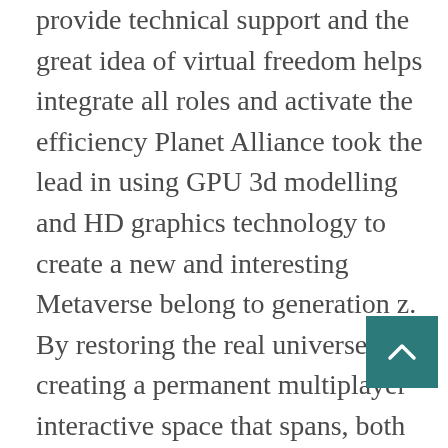provide technical support and the great idea of virtual freedom helps integrate all roles and activate the efficiency Planet Alliance took the lead in using GPU 3d modelling and HD graphics technology to create a new and interesting Metaverse belong to generation z.  By restoring the real universe and creating a permanent multiplayer interactive space that spans, both the virtual and the real world all players can have a personalized planet in the planet alliance and build their own civilization.  With the aid of the partnership, they can build a community.

Each planet will be named after they pass the application according to rules of the International Astronomical Union or IAU, and they will receive related certificates different from traditional social models.  Planet Alliance will rely on interactive sensing technology to achieve technological